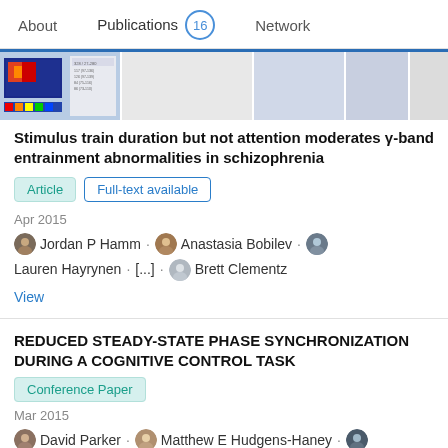About  Publications 16  Network
[Figure (screenshot): Thumbnail images of a scientific publication showing brain scan data and tables]
Stimulus train duration but not attention moderates γ-band entrainment abnormalities in schizophrenia
Article  Full-text available
Apr 2015
Jordan P Hamm · Anastasia Bobilev · Lauren Hayrynen · [...] · Brett Clementz
View
REDUCED STEADY-STATE PHASE SYNCHRONIZATION DURING A COGNITIVE CONTROL TASK
Conference Paper
Mar 2015
David Parker · Matthew E Hudgens-Haney · William T Oliver · [...] · Brett Clementz